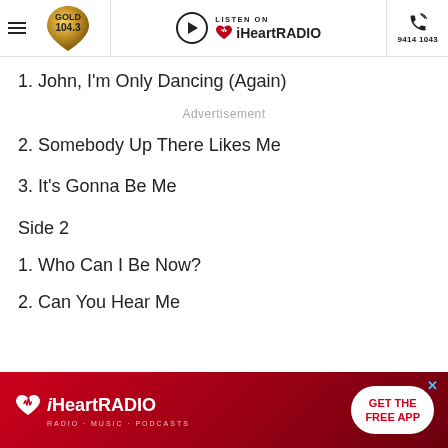GOLD 104.3 | LISTEN ON iHeartRADIO | 9414 1043
1. John, I'm Only Dancing (Again)
Advertisement
2. Somebody Up There Likes Me
3. It's Gonna Be Me
Side 2
1. Who Can I Be Now?
2. Can You Hear Me
[Figure (screenshot): iHeartRADIO advertisement banner with red gradient background, iHeartRADIO logo, and 'GET THE FREE APP' button]